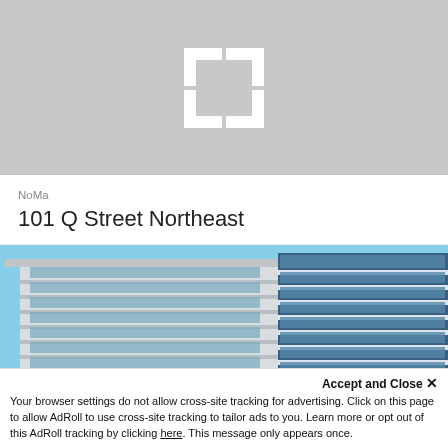[Figure (logo): Gray placeholder image with white CoStar-style bracket/C logo icon in center]
NoMa
101 Q Street Northeast
[Figure (photo): Exterior photo of a modern multi-story office building with blue glass and white horizontal bands, blue sky background]
Accept and Close ×
Your browser settings do not allow cross-site tracking for advertising. Click on this page to allow AdRoll to use cross-site tracking to tailor ads to you. Learn more or opt out of this AdRoll tracking by clicking here. This message only appears once.